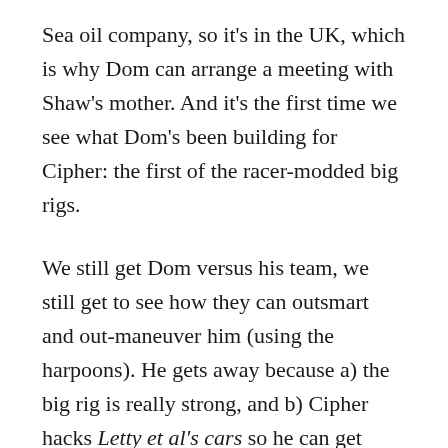Sea oil company, so it's in the UK, which is why Dom can arrange a meeting with Shaw's mother. And it's the first time we see what Dom's been building for Cipher: the first of the racer-modded big rigs.
We still get Dom versus his team, we still get to see how they can outsmart and out-maneuver him (using the harpoons). He gets away because a) the big rig is really strong, and b) Cipher hacks Letty et al's cars so he can get away. No zombie cars, just a very personal attack on Dom's old crew.
This sets us up for the confrontation at the sub heist. Letty and her team have to build their own big rigs, both to maneuver on the ice and so that they can't be hacked by Cipher. We get a quip about how they used to rob